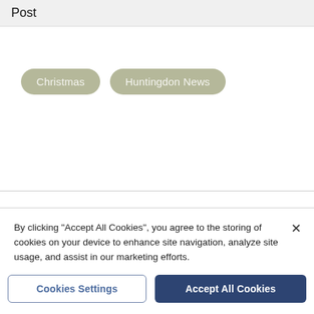Post
Christmas
Huntingdon News
By clicking "Accept All Cookies", you agree to the storing of cookies on your device to enhance site navigation, analyze site usage, and assist in our marketing efforts.
Cookies Settings
Accept All Cookies